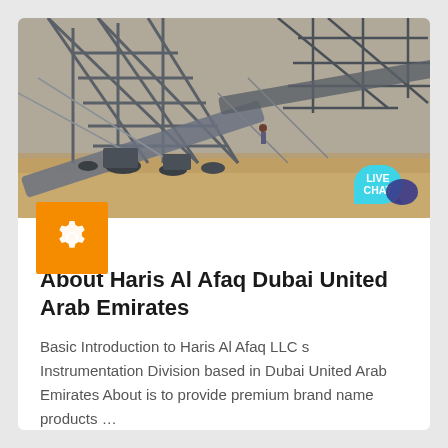[Figure (photo): Industrial conveyor belt system / mining or quarrying equipment on sandy terrain with metal truss structures, photographed outdoors]
About Haris Al Afaq Dubai United Arab Emirates
Basic Introduction to Haris Al Afaq LLC s Instrumentation Division based in Dubai United Arab Emirates About is to provide premium brand name products …